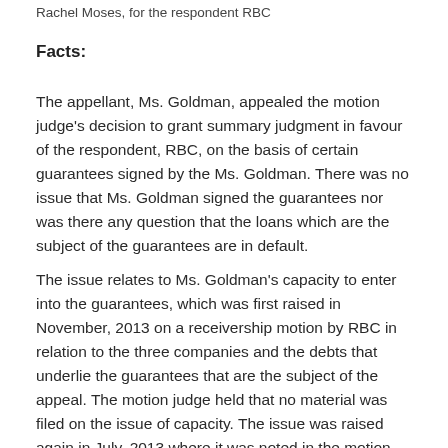Rachel Moses, for the respondent RBC
Facts:
The appellant, Ms. Goldman, appealed the motion judge’s decision to grant summary judgment in favour of the respondent, RBC, on the basis of certain guarantees signed by the Ms. Goldman. There was no issue that Ms. Goldman signed the guarantees nor was there any question that the loans which are the subject of the guarantees are in default.
The issue relates to Ms. Goldman’s capacity to enter into the guarantees, which was first raised in November, 2013 on a receivership motion by RBC in relation to the three companies and the debts that underlie the guarantees that are the subject of the appeal. The motion judge held that no material was filed on the issue of capacity. The issue was raised again in July, 2013 where it was noted in the motion judge’s decision that no steps had been taken to